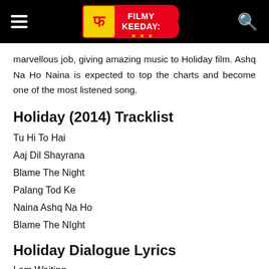Filmy Keeday - Header navigation with logo
marvellous job, giving amazing music to Holiday film. Ashq Na Ho Naina is expected to top the charts and become one of the most listened song.
Holiday (2014) Tracklist
Tu Hi To Hai
Aaj Dil Shayrana
Blame The Night
Palang Tod Ke
Naina Ashq Na Ho
Blame The NIght
Holiday Dialogue Lyrics
I am Waiting